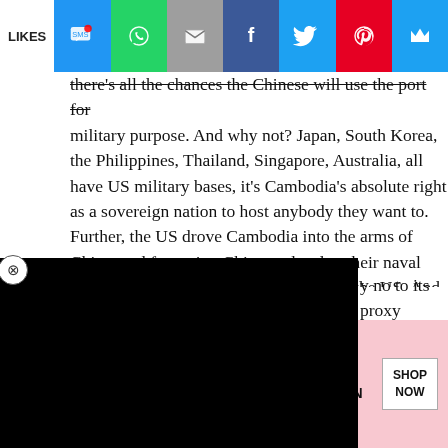[Figure (screenshot): Social sharing bar with icons: SMS, WhatsApp, Email, Facebook, Twitter, Pinterest, and another icon. LIKES label on the left.]
there's all the chances the Chinese will use the port for military purpose. And why not? Japan, South Korea, the Philippines, Thailand, Singapore, Australia, all have US military bases, it's Cambodia's absolute right as a sovereign nation to host anybody they want to. Further, the US drove Cambodia into the arms of China, and favouring China to develop their naval facilities is Cambodia's middle finger to the US. And well-deserved too!
y no to its proxy stooges in the a handing over our country to them onkeys won't mind being treated g had a Yank military base but still emocracy conférence" by Sleepy oges ain't all that great as the US is on its last leg to oblivion.
[Figure (screenshot): Black video player overlay partially covering text]
[Figure (screenshot): Partial image strip and 'Seniors Wit' text label at the bottom of the article area]
Search for
CLOSE
Milita...
Milita...
[Figure (photo): Victoria's Secret advertisement with a model, VS logo, 'SHOP THE COLLECTION' text and 'SHOP NOW' button]